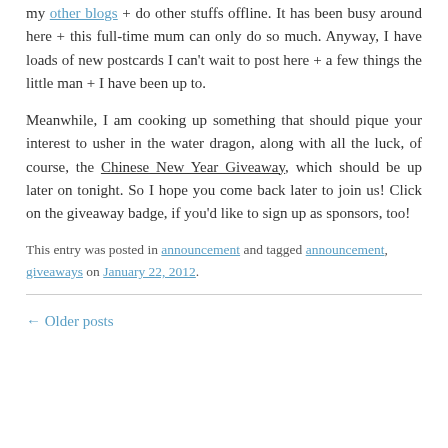my other blogs + do other stuffs offline. It has been busy around here + this full-time mum can only do so much. Anyway, I have loads of new postcards I can't wait to post here + a few things the little man + I have been up to.
Meanwhile, I am cooking up something that should pique your interest to usher in the water dragon, along with all the luck, of course, the Chinese New Year Giveaway, which should be up later on tonight. So I hope you come back later to join us! Click on the giveaway badge, if you'd like to sign up as sponsors, too!
This entry was posted in announcement and tagged announcement, giveaways on January 22, 2012.
← Older posts